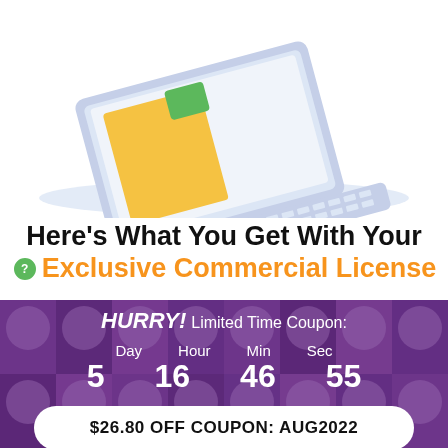[Figure (illustration): Isometric illustration of a laptop with a yellow document/folder on screen and green element, on a light blue surface background]
Here's What You Get With Your Exclusive Commercial License
[Figure (infographic): Purple/violet countdown timer banner with grid of blurred face photos in background. Shows HURRY! Limited Time Coupon: Day 5, Hour 16, Min 46, Sec 55. White pill-shaped button with text $26.80 OFF COUPON: AUG2022]